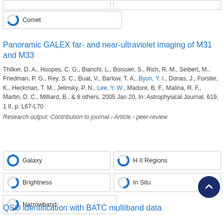Comet
Panoramic GALEX far- and near-ultraviolet imaging of M31 and M33
Thilker, D. A., Hoopes, C. G., Bianchi, L., Boissier, S., Rich, R. M., Seibert, M., Friedman, P. G., Rey, S. C., Buat, V., Barlow, T. A., Byun, Y. I., Donas, J., Forster, K., Heckman, T. M., Jelinsky, P. N., Lee, Y. W., Madore, B. F., Malina, R. F., Martin, D. C., Milliard, B., & 8 others, 2005 Jan 20, In: Astrophysical Journal. 619, 1 II, p. L67-L70
Research output: Contribution to journal › Article › peer-review
Galaxy
H II Regions
Brightness
In Situ
Narrowband
QSO identification with BATC multiband data